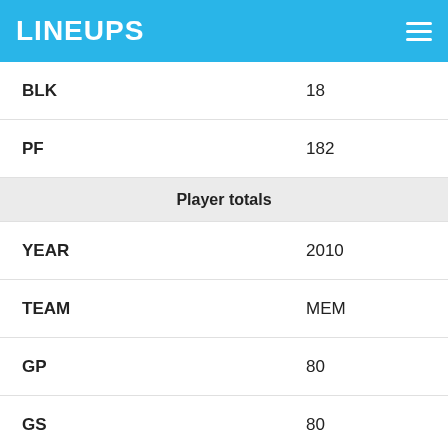LINEUPS
| Stat | Value |
| --- | --- |
| BLK | 18 |
| PF | 182 |
| Player totals |  |
| YEAR | 2010 |
| TEAM | MEM |
| GP | 80 |
| GS | 80 |
| MINS | 2,569 |
| Fantasy Points |  |
| FPTS | 2,018.7 |
| FPPG | 25.2 |
| Offense |  |
| PTS | 959 |